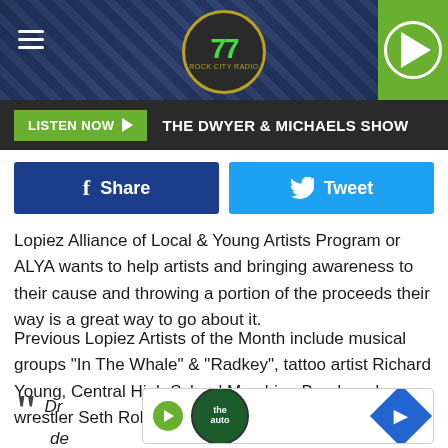[Figure (screenshot): Website header banner with dark blue metallic background, hamburger menu icon on left, circular station logo in center, green play button on right]
LISTEN NOW ▶  THE DWYER & MICHAELS SHOW
[Figure (screenshot): Facebook Share button (dark blue) and Twitter Tweet button (cyan) side by side]
Lopiez Alliance of Local & Young Artists Program or ALYA wants to help artists and bringing awareness to their cause and throwing a portion of the proceeds their way is a great way to go about it.
Previous Lopiez Artists of the Month include musical groups "In The Whale" & "Radkey", tattoo artist Richard Young, Central High School Marching Band, and wrestler Seth Rollins (Colby Lopez if you're nasty).
Dr de
[Figure (screenshot): Advertisement overlay showing a green circular logo with auto branding, green play button, and blue diamond navigation icon]